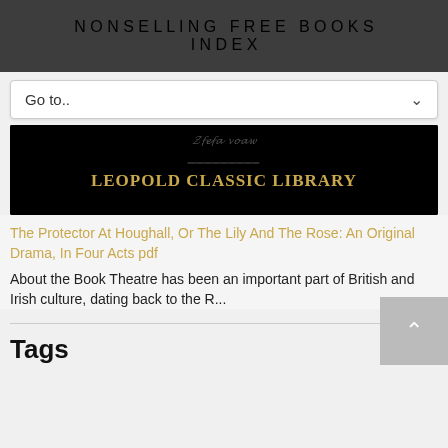NONSELLING FREE BOOKS INDEX
Go to..
[Figure (illustration): Black background book cover image for Leopold Classic Library with golden script text above and golden sans-serif text reading 'LEOPOLD CLASSIC LIBRARY']
The Protector At Houghall, Or The Lily And The Rose: An Original Drama, In Four Acts pdf
About the Book Theatre has been an important part of British and Irish culture, dating back to the R...
Tags